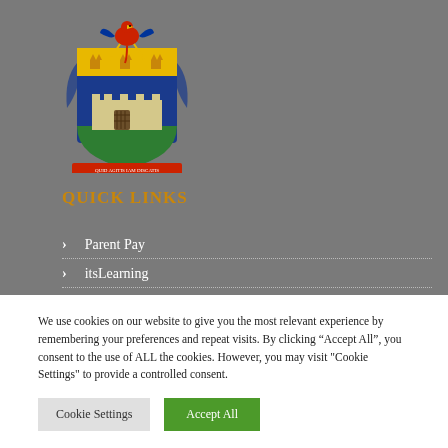[Figure (logo): School coat of arms / crest with a bird (red phoenix) on top, blue and gold shield with castle and crowns, on a green base, with a banner below]
QUICK LINKS
Parent Pay
itsLearning
My Child at School (MCAS)
We use cookies on our website to give you the most relevant experience by remembering your preferences and repeat visits. By clicking “Accept All”, you consent to the use of ALL the cookies. However, you may visit "Cookie Settings" to provide a controlled consent.
Cookie Settings | Accept All